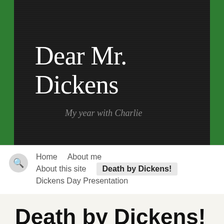Dear Mr. Dickens
My year with Charlie
Home   About me   About this site   Death by Dickens!   Dickens Day Presentation
Death by Dickens!